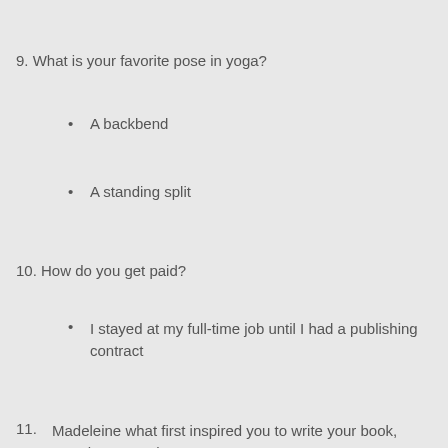9. What is your favorite pose in yoga?
A backbend
A standing split
10. How do you get paid?
I stayed at my full-time job until I had a publishing contract
11. Madeleine what first inspired you to write your book, Breathe In, Cash Out?
I had experience in investment banking and in yoga. They are polar opposites in many ways